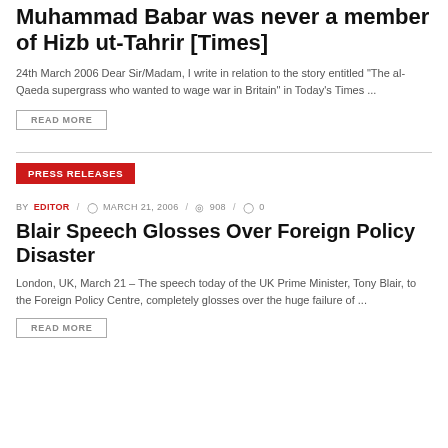Muhammad Babar was never a member of Hizb ut-Tahrir [Times]
24th March 2006 Dear Sir/Madam, I write in relation to the story entitled "The al-Qaeda supergrass who wanted to wage war in Britain" in Today's Times ...
READ MORE
PRESS RELEASES
BY EDITOR / MARCH 21, 2006 / 908 / 0
Blair Speech Glosses Over Foreign Policy Disaster
London, UK, March 21 – The speech today of the UK Prime Minister, Tony Blair, to the Foreign Policy Centre, completely glosses over the huge failure of ...
READ MORE